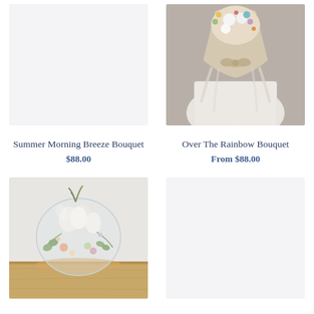[Figure (photo): Light gray/off-white empty product photo placeholder for Summer Morning Breeze Bouquet]
[Figure (photo): Photo of a colorful dried flower bouquet wrapped in beige/cream paper with ribbon, held by a person in a white lace dress]
Summer Morning Breeze Bouquet
Over The Rainbow Bouquet
$88.00
From $88.00
[Figure (photo): Photo of a glass globe terrarium with dried white pampas grass, eucalyptus, air plant, and pastel dried flowers on a wooden surface]
[Figure (photo): Light gray/white empty product photo placeholder for a fourth product]